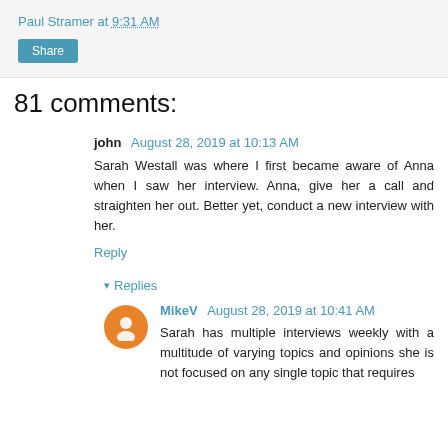Paul Stramer at 9:31 AM
Share
81 comments:
john  August 28, 2019 at 10:13 AM
Sarah Westall was where I first became aware of Anna when I saw her interview. Anna, give her a call and straighten her out. Better yet, conduct a new interview with her.
Reply
▾ Replies
MikeV  August 28, 2019 at 10:41 AM
Sarah has multiple interviews weekly with a multitude of varying topics and opinions she is not focused on any single topic that requires